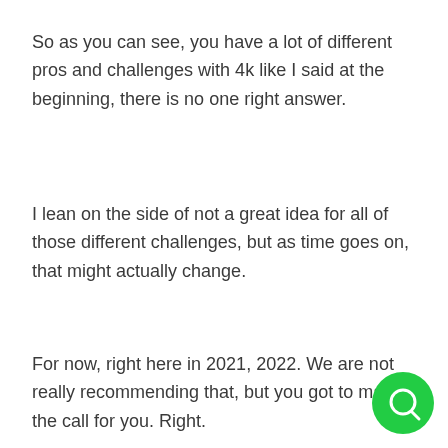So as you can see, you have a lot of different pros and challenges with 4k like I said at the beginning, there is no one right answer.
I lean on the side of not a great idea for all of those different challenges, but as time goes on, that might actually change.
For now, right here in 2021, 2022. We are not really recommending that, but you got to make the call for you. Right.
[Figure (other): Green circular chat/search button in the bottom right corner]